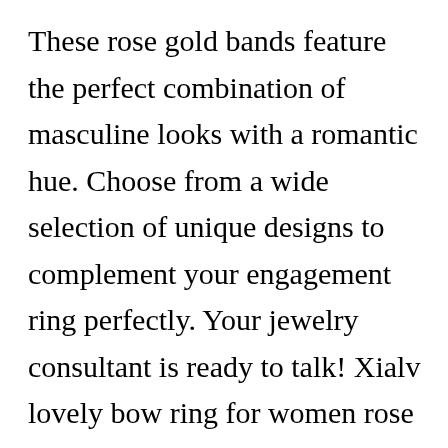These rose gold bands feature the perfect combination of masculine looks with a romantic hue. Choose from a wide selection of unique designs to complement your engagement ring perfectly. Your jewelry consultant is ready to talk! Xialv lovely bow ring for women rose gold with clear cubic zirconia pave bridal statement anniversary engagement wedding promise romantic band ring (us code 6) 4.4 out of 5. If you are looking for a wedding band that�s both stylish and affordable, our collection of